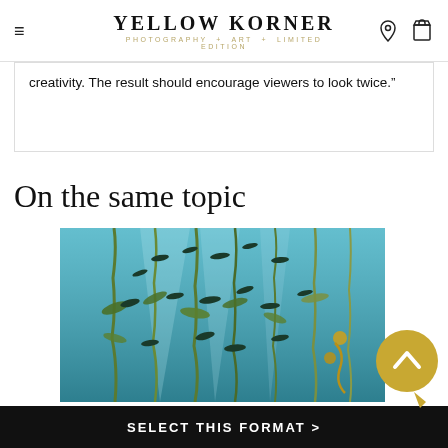YELLOW KORNER PHOTOGRAPHY + ART + LIMITED EDITION
creativity. The result should encourage viewers to look twice."
On the same topic
[Figure (photo): Underwater photograph showing tall kelp forest with schools of small dark fish swimming among the kelp strands in blue-green water]
SELECT THIS FORMAT >